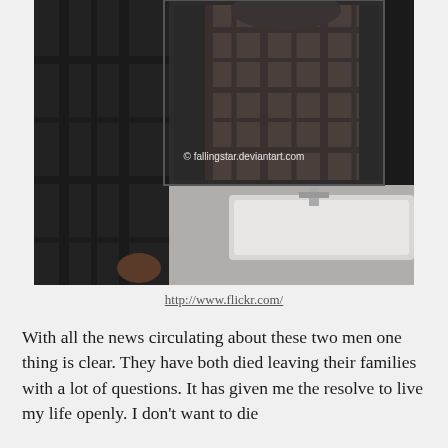[Figure (photo): A dark photo of a person in a plaid hooded jacket standing at a bathroom sink, viewed from behind. A mirror shows a reflection of the person's torso. A watermark reads '© fallingstar.deviantart.com'.]
http://www.flickr.com/
With all the news circulating about these two men one thing is clear. They have both died leaving their families with a lot of questions. It has given me the resolve to live my life openly. I don't want to die